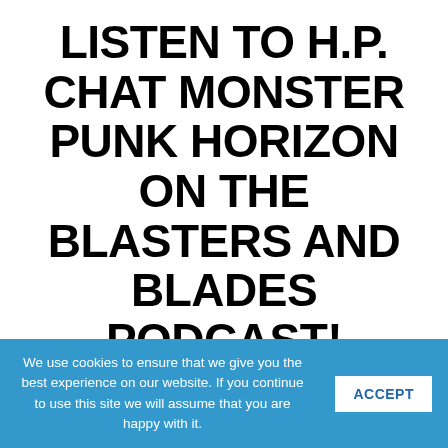LISTEN TO H.P. CHAT MONSTER PUNK HORIZON ON THE BLASTERS AND BLADES PODCAST!
October 20, 2021 by hpholo — Leave a Comment
[Figure (illustration): Fantasy game art showing a person with a weapon against a blue sky background]
Hey, Holo fans! 😊 The
We use cookies to ensure that we give you the best experience on our website. If you continue to use this site we will assume that you are happy with it.
ACCEPT